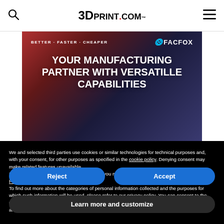3DPrint.com
[Figure (illustration): FacFox advertisement banner: BETTER · FASTER · CHEAPER tagline with FacFox logo, and large text 'YOUR MANUFACTURING PARTNER WITH VERSATILLE CAPABILITIES' on a dark gradient background]
We and selected third parties use cookies or similar technologies for technical purposes and, with your consent, for other purposes as specified in the cookie policy. Denying consent may make related features unavailable.
In case of sale of your personal information, you may opt out by using the link "Do Not Sell My Personal Information".
To find out more about the categories of personal information collected and the purposes for which such information will be used, please refer to our privacy policy. You can consent to the use of such technologies by using the "Accept" button, by scrolling this page, by interacting with any link or button outside of this notice or by continuing to browse otherwise.
Reject
Accept
Learn more and customize